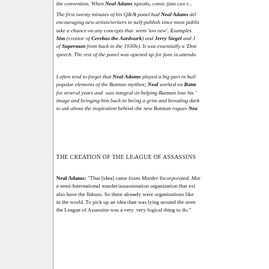the convention. When Neal Adams speaks, comic fans can r...
The first twenty minutes of his Q&A panel had Neal Adams del... encouraging new artists/writers to self-publish since most publis... take a chance on any concepts that seem 'too new'. Examples... Sim (creator of Cerebus the Aardvark) and Jerry Siegel and J... of Superman from back in the 1930s). It was essentially a 'Don... speech. The rest of the panel was opened up for fans in attenda...
I often tend to forget that Neal Adams played a big part in buil... popular elements of the Batman mythos; Neal worked on Batm... for several years and was integral in helping Batman lose his '... image and bringing him back to being a grim and brooding dark... to ask about the inspiration behind the new Batman rogues Nea...
THE CREATION OF THE LEAGUE OF ASSASSINS
Neal Adams: "That [idea] came from Murder Incorporated. Mur... a semi-International murder/assassination organization that exi... also have the Yakuza. So there already were organizations like... in the world. To pick up an idea that was lying around the stree... the League of Assassins was a very very logical thing to do."